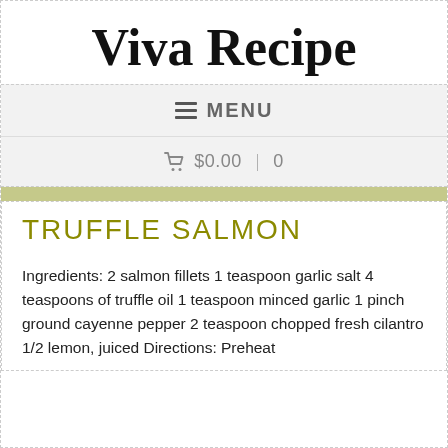Viva Recipe
≡ MENU
🛒 $0.00 | 0
TRUFFLE SALMON
Ingredients: 2 salmon fillets 1 teaspoon garlic salt 4 teaspoons of truffle oil 1 teaspoon minced garlic 1 pinch ground cayenne pepper 2 teaspoon chopped fresh cilantro 1/2 lemon, juiced Directions: Preheat